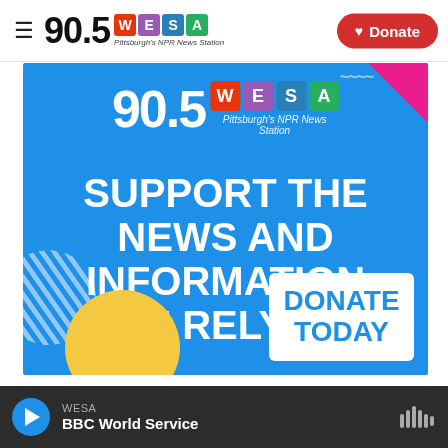90.5 WESA Pittsburgh's NPR News Station | Donate
[Figure (infographic): 90.5 WESA donation advertisement banner on blue background with text 'SUPPORT THE NEWS AND INFORMATION YOU RELY ON.' and DONATE TODAY button]
WESA BBC World Service